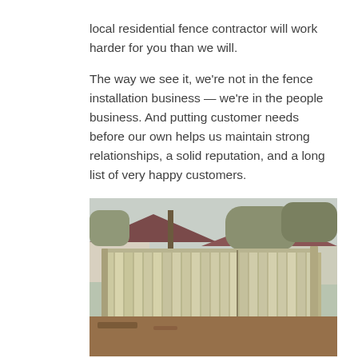local residential fence contractor will work harder for you than we will.
The way we see it, we're not in the fence installation business — we're in the people business. And putting customer needs before our own helps us maintain strong relationships, a solid reputation, and a long list of very happy customers.
[Figure (photo): Photograph of a tall wooden privacy fence with vertical boards enclosing a backyard area, with a residential house and bare trees visible in the background.]